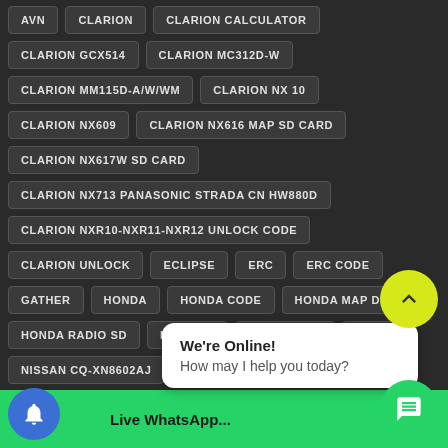AVN
CLARION
CLARION CALCULATOR
CLARION GCX514
CLARION MC312D-W
CLARION MM115D-A/W/WM
CLARION NX10
CLARION NX609
CLARION NX616 MAP SD CARD
CLARION NX617W SD CARD
CLARION NX713 PANASONIC STRADA CN HW880D
CLARION NXR10-NXR11-NXR12 UNLOCK CODE
CLARION UNLOCK
ECLIPSE
ERC
ERC CODE
GATHER
HONDA
HONDA CODE
HONDA MAP DISK
HONDA RADIO SD
MAPDISK
NAVIGATION
NISSAN
NISSAN CQ-XN8602AJ
NISSAN FIT MAP CA...
We're Online! How may I help you today?
Live WhatsApp...